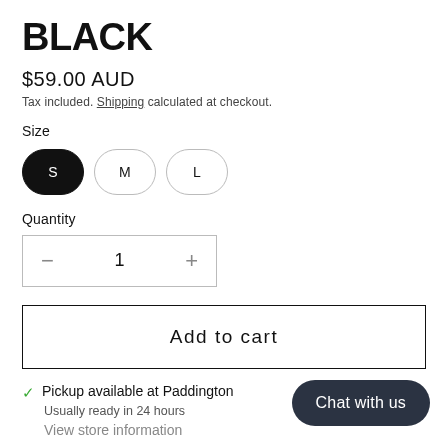BLACK
$59.00 AUD
Tax included. Shipping calculated at checkout.
Size
S (selected)
M
L
Quantity
- 1 +
Add to cart
✓ Pickup available at Paddington
Usually ready in 24 hours
View store information
Chat with us